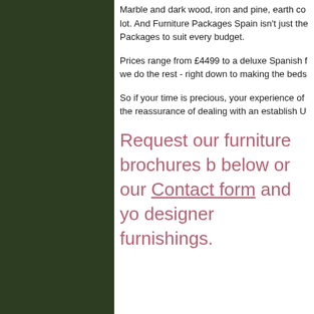[Figure (other): Dark green sidebar panel on left side of page]
Marble and dark wood, iron and pine, earth co lot. And Furniture Packages Spain isn't just the Packages to suit every budget.
Prices range from £4499 to a deluxe Spanish f we do the rest - right down to making the beds
So if your time is precious, your experience of the reassurance of dealing with an establish U
Request our furniture brochures b below or our Contact form and yo designer furnishings.